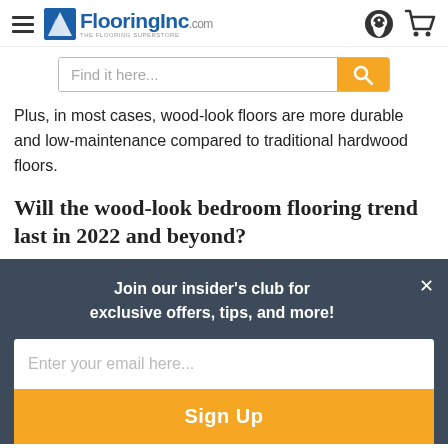FlooringInc.com
Plus, in most cases, wood-look floors are more durable and low-maintenance compared to traditional hardwood floors.
Will the wood-look bedroom flooring trend last in 2022 and beyond?
Join our insider's club for exclusive offers, tips, and more!
Enter your email here...
Sign Up